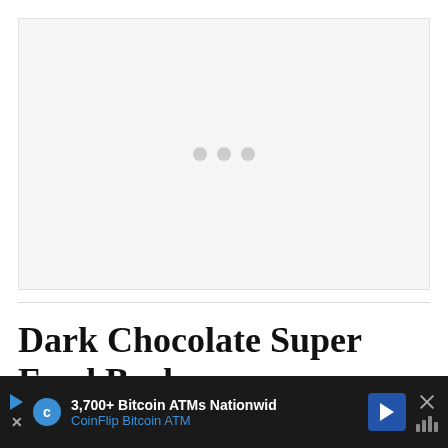[Figure (other): Advertisement placeholder area with three gray dots centered, light gray background]
Dark Chocolate Super Food Bark
This Super Food Bark is a more nourishing and satisfying alte... nt skip the... s t... with
[Figure (other): CoinFlip Bitcoin ATM advertisement banner: '3,700+ Bitcoin ATMs Nationwid' and 'CoinFlip Bitcoin ATM' with logo and arrow icon on dark background]